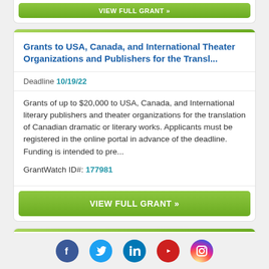VIEW FULL GRANT »
Grants to USA, Canada, and International Theater Organizations and Publishers for the Transl...
Deadline 10/19/22
Grants of up to $20,000 to USA, Canada, and International literary publishers and theater organizations for the translation of Canadian dramatic or literary works. Applicants must be registered in the online portal in advance of the deadline. Funding is intended to pre...
GrantWatch ID#: 177981
VIEW FULL GRANT »
Grants to USA IHEs for Small Biomedical Research
[Figure (infographic): Social media icons row: Facebook, Twitter, LinkedIn, YouTube, Instagram]